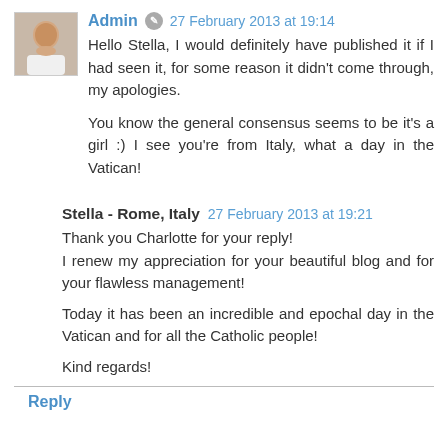[Figure (photo): Avatar photo of Admin user — a person in a white outfit, partial face visible]
Admin  27 February 2013 at 19:14
Hello Stella, I would definitely have published it if I had seen it, for some reason it didn't come through, my apologies.

You know the general consensus seems to be it's a girl :) I see you're from Italy, what a day in the Vatican!
Stella - Rome, Italy  27 February 2013 at 19:21
Thank you Charlotte for your reply!
I renew my appreciation for your beautiful blog and for your flawless management!

Today it has been an incredible and epochal day in the Vatican and for all the Catholic people!

Kind regards!
Reply